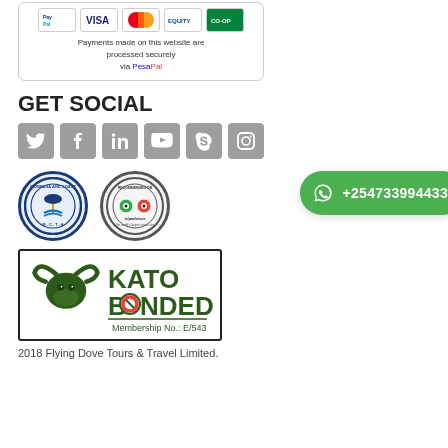[Figure (other): Payment logos box with PayPal, Visa, Mastercard, Equity, Co-op Bank logos and text 'Payments made on this website are processed securely via PesaPal']
GET SOCIAL
[Figure (other): Row of 6 social media icons: Twitter, Facebook, LinkedIn, YouTube, Skype, Instagram (grey square buttons)]
[Figure (other): Mombasa Coast Tourism Association badge (circular blue) and TripAdvisor 'Recommended on Tripadvisor' badge (circular grey/green)]
[Figure (other): WhatsApp contact button with phone number +254733994433 (green rounded button)]
[Figure (logo): KATO BONDED Membership No.: E/543 logo with buffalo head graphic in dark green, inside a rectangular border]
2018 Flying Dove Tours & Travel Limited.